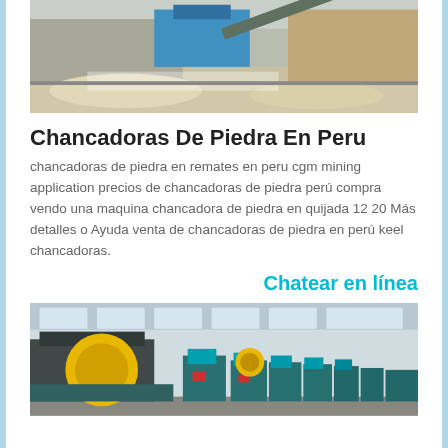[Figure (photo): Outdoor stone crushing facility with blue machinery and rock piles]
Chancadoras De Piedra En Peru
chancadoras de piedra en remates en peru cgm mining application precios de chancadoras de piedra perú compra vendo una maquina chancadora de piedra en quijada 12 20 Más detalles o Ayuda venta de chancadoras de piedra en perú keel chancadoras.
Chatear en línea
[Figure (photo): Industrial factory hall with large green rolling machines lined up]